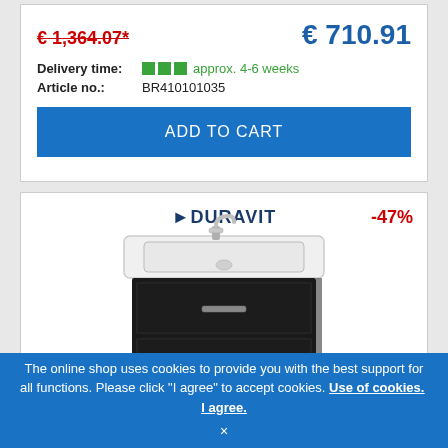€ 1,364.07* (strikethrough, red) / € 710.91 (blue, large)
Delivery time: approx. 4-6 weeks
Article no.: BR410101035
ADD TO CART
[Figure (screenshot): Duravit brand logo with arrow icon, -47% discount badge in red, and product photo of a black bathroom vanity cabinet with white sink basin and chrome faucet mounted on top]
The online shop uses cookies to provide you with the best support for all functions. Please click "I agree" to accept cookies. Use of cookies. I agree.
×